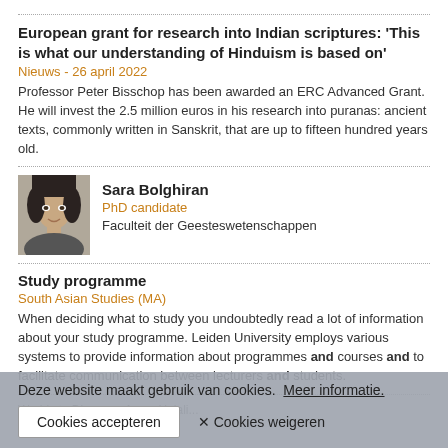European grant for research into Indian scriptures: 'This is what our understanding of Hinduism is based on'
Nieuws - 26 april 2022
Professor Peter Bisschop has been awarded an ERC Advanced Grant. He will invest the 2.5 million euros in his research into puranas: ancient texts, commonly written in Sanskrit, that are up to fifteen hundred years old.
Sara Bolghiran
PhD candidate
Faculteit der Geesteswetenschappen
Study programme
South Asian Studies (MA)
When deciding what to study you undoubtedly read a lot of information about your study programme. Leiden University employs various systems to provide information about programmes and courses and to facilitate communication between lecturers and students.
Worlds to Discover: Asma Helali...
Deze website maakt gebruik van cookies.  Meer informatie.
Cookies accepteren
✕ Cookies weigeren